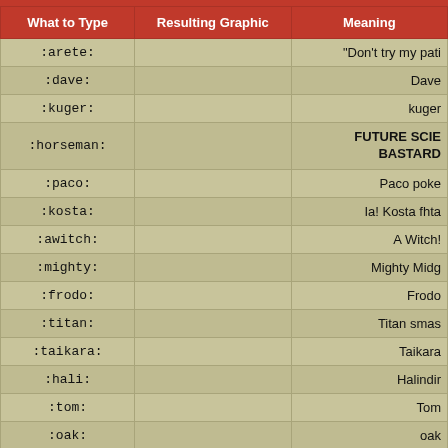| What to Type | Resulting Graphic | Meaning |
| --- | --- | --- |
| :arete: |  | "Don't try my pati |
| :dave: |  | Dave |
| :kuger: |  | kuger |
| :horseman: |  | FUTURE SCIE
BASTARD |
| :paco: |  | Paco poke |
| :kosta: |  | Ia! Kosta fhta |
| :awitch: |  | A Witch! |
| :mighty: |  | Mighty Midg |
| :frodo: |  | Frodo |
| :titan: |  | Titan smas |
| :taikara: |  | Taikara |
| :hali: |  | Halindir |
| :tom: |  | Tom |
| :oak: |  | oak |
| :thochoson: |  | *Need moar C |